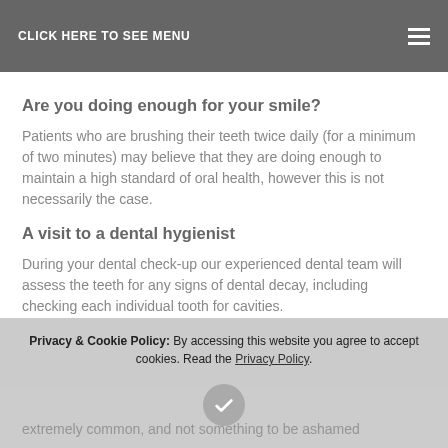CLICK HERE TO SEE MENU
Are you doing enough for your smile?
Patients who are brushing their teeth twice daily (for a minimum of two minutes) may believe that they are doing enough to maintain a high standard of oral health, however this is not necessarily the case.
A visit to a dental hygienist
During your dental check-up our experienced dental team will assess the teeth for any signs of dental decay, including checking each individual tooth for cavities.
extremely common, and not something to be ashamed
Privacy & Cookie Policy: By accessing this website you agree to accept cookies. Read the Privacy Policy.